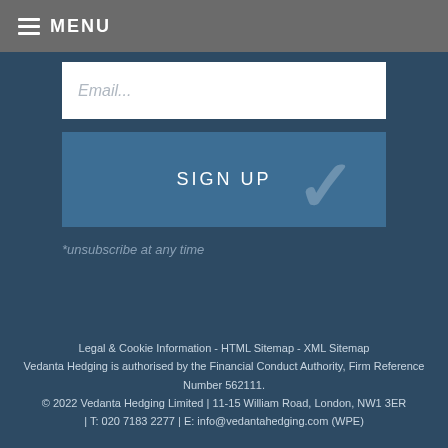MENU
Email...
SIGN UP
*unsubscribe at any time
Legal & Cookie Information - HTML Sitemap - XML Sitemap
Vedanta Hedging is authorised by the Financial Conduct Authority, Firm Reference Number 562111.
© 2022 Vedanta Hedging Limited | 11-15 William Road, London, NW1 3ER | T: 020 7183 2277 | E: info@vedantahedging.com (WPE)